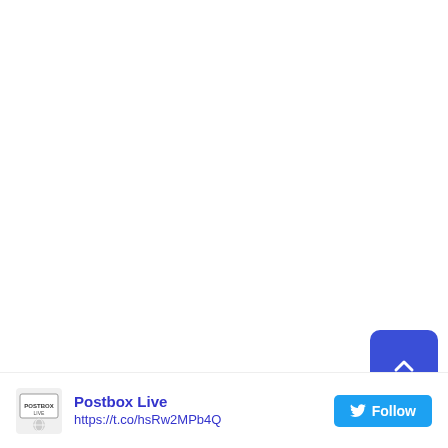Older posts
[Figure (other): Scroll to top button - blue rounded square with upward chevron arrow]
Postbox Live https://t.co/hsRw2MPb4Q Follow